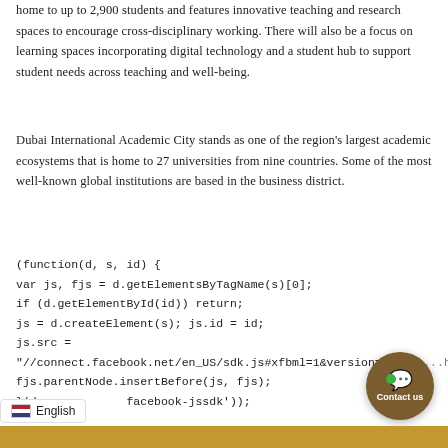home to up to 2,900 students and features innovative teaching and research spaces to encourage cross-disciplinary working. There will also be a focus on learning spaces incorporating digital technology and a student hub to support student needs across teaching and well-being.
Dubai International Academic City stands as one of the region's largest academic ecosystems that is home to 27 universities from nine countries. Some of the most well-known global institutions are based in the business district.
(function(d, s, id) {
var js, fjs = d.getElementsByTagName(s)[0];
if (d.getElementById(id)) return;
js = d.createElement(s); js.id = id;
js.src =
"//connect.facebook.net/en_US/sdk.js#xfbml=1&version=v2.5&a...http
fjs.parentNode.insertBefore(js, fjs);
}(docu...        ...facebook-jssdk'));